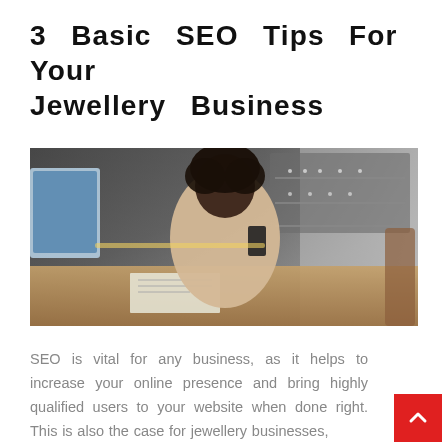3 Basic SEO Tips For Your Jewellery Business
[Figure (photo): A woman sitting at a wooden desk in a jewellery store, looking at her phone and writing notes, with display cases of jewellery visible in the background and a computer monitor on the left.]
SEO is vital for any business, as it helps to increase your online presence and bring highly qualified users to your website when done right. This is also the case for jewellery businesses,